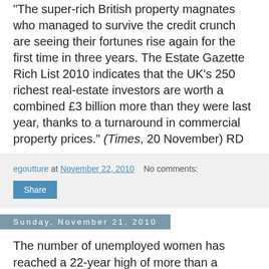"The super-rich British property magnates who managed to survive the credit crunch are seeing their fortunes rise again for the first time in three years. The Estate Gazette Rich List 2010 indicates that the UK's 250 richest real-estate investors are worth a combined £3 billion more than they were last year, thanks to a turnaround in commercial property prices." (Times, 20 November) RD
egoutture at November 22, 2010  No comments:
Share
Sunday, November 21, 2010
The number of unemployed women has reached a 22-year high of more than a million, prompting warnings of worse to come.
Analysts say women are bearing the brunt of the recession and public-sector cuts, with women in Scotland losing their jobs at a rate more than seven times greater than for men. The number of females out of work north of the Border